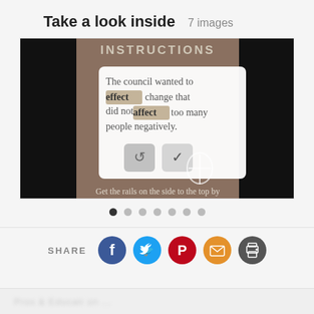Take a look inside   7 images
[Figure (screenshot): Screenshot of an educational app showing a sentence with 'effect' and 'affect' highlighted, with buttons for refresh and confirm, and text 'Get the rails on the side to the top by' at the bottom. Header reads 'INSTRUCTIONS'.]
[Figure (other): Carousel navigation dots, 7 total, first dot active (dark)]
SHARE
[Figure (infographic): Social share icons: Facebook (blue), Twitter (cyan), Pinterest (red), Email (orange), Print (dark gray)]